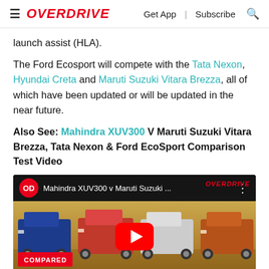OVERDRIVE | Get App | Subscribe
launch assist (HLA).
The Ford Ecosport will compete with the Tata Nexon, Hyundai Creta and Maruti Suzuki Vitara Brezza, all of which have been updated or will be updated in the near future.
Also See: Mahindra XUV300 V Maruti Suzuki Vitara Brezza, Tata Nexon & Ford EcoSport Comparison Test Video
[Figure (screenshot): YouTube video thumbnail showing Mahindra XUV300 v Maruti Suzuki comparison test video, with four SUVs (blue Tata Nexon, red Mahindra XUV300, white SUV, orange Ford EcoSport) driving on a dirt road. Red YouTube play button in center. OVERDRIVE watermark top right. COMPARED badge and MAHINDRA text at bottom.]